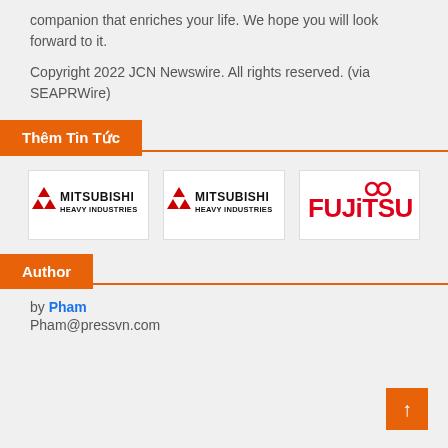companion that enriches your life. We hope you will look forward to it.
Copyright 2022 JCN Newswire. All rights reserved. (via SEAPRWire)
Thêm Tin Tức
[Figure (logo): Mitsubishi Heavy Industries logo (first)]
[Figure (logo): Mitsubishi Heavy Industries logo (second)]
[Figure (logo): Fujitsu logo]
Author
by Pham
Pham@pressvn.com